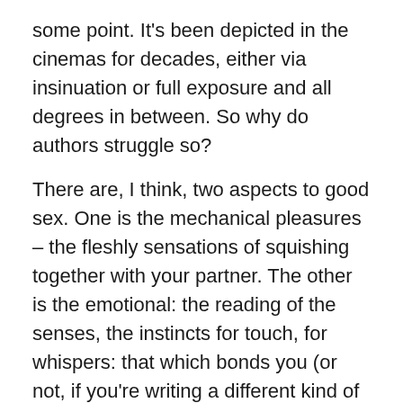some point. It's been depicted in the cinemas for decades, either via insinuation or full exposure and all degrees in between. So why do authors struggle so?
There are, I think, two aspects to good sex. One is the mechanical pleasures – the fleshly sensations of squishing together with your partner. The other is the emotional: the reading of the senses, the instincts for touch, for whispers: that which bonds you (or not, if you're writing a different kind of scene) to your partner and has very little to do with sticking it in and wiggling around a bit.
I've never written a sex scene – not what I'd call a proper full-on graphic account of hot hard rumpy-pumpy. I was planning on putting two in Chivalry, but when it came to it I ducked out. This is partly because I believe that the most vital images are in the readers' head and, with a good